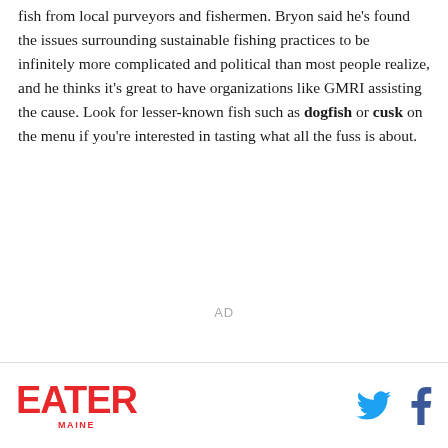fish from local purveyors and fishermen. Bryon said he's found the issues surrounding sustainable fishing practices to be infinitely more complicated and political than most people realize, and he thinks it's great to have organizations like GMRI assisting the cause. Look for lesser-known fish such as dogfish or cusk on the menu if you're interested in tasting what all the fuss is about.
AD
EATER MAINE